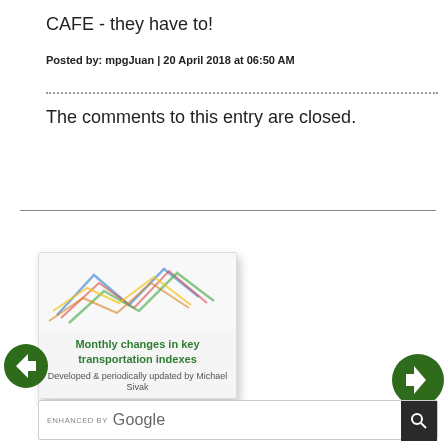CAFE - they have to!
Posted by: mpgJuan | 20 April 2018 at 06:50 AM
The comments to this entry are closed.
[Figure (illustration): Thumbnail image showing 'Monthly changes in key transportation indexes - Developed & periodically updated by Michael Sivak' with overlapping colored arrow/chevron graphics in blue, red, green, yellow, and orange.]
ENHANCED BY Google (search bar with navigation arrows)